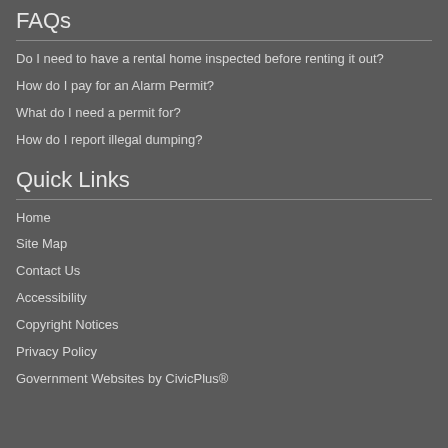FAQs
Do I need to have a rental home inspected before renting it out?
How do I pay for an Alarm Permit?
What do I need a permit for?
How do I report illegal dumping?
Quick Links
Home
Site Map
Contact Us
Accessibility
Copyright Notices
Privacy Policy
Government Websites by CivicPlus®